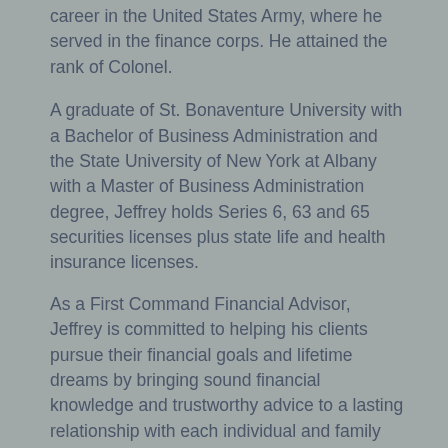career in the United States Army, where he served in the finance corps. He attained the rank of Colonel.
A graduate of St. Bonaventure University with a Bachelor of Business Administration and the State University of New York at Albany with a Master of Business Administration degree, Jeffrey holds Series 6, 63 and 65 securities licenses plus state life and health insurance licenses.
As a First Command Financial Advisor, Jeffrey is committed to helping his clients pursue their financial goals and lifetime dreams by bringing sound financial knowledge and trustworthy advice to a lasting relationship with each individual and family he serves.
Jeffrey is a member of the Prince William Veterans Council. He is married with four children.
Jeffrey Focuses in: